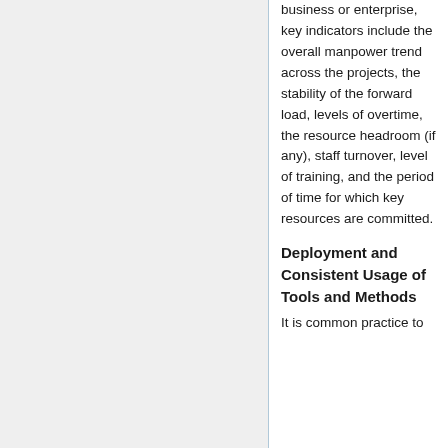business or enterprise, key indicators include the overall manpower trend across the projects, the stability of the forward load, levels of overtime, the resource headroom (if any), staff turnover, level of training, and the period of time for which key resources are committed.
Deployment and Consistent Usage of Tools and Methods
It is common practice to